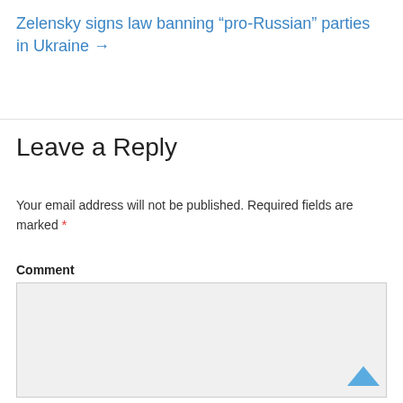Zelensky signs law banning “pro-Russian” parties in Ukraine →
Leave a Reply
Your email address will not be published. Required fields are marked *
Comment